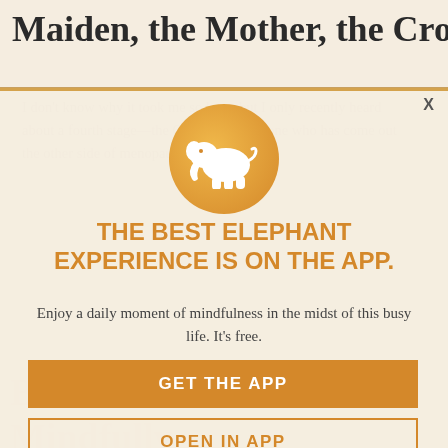Maiden, the Mother, the Crone.
I don't know why it took me so long, but I only recently heard about a fourth stage—the Queen. As someone who has come out the other side of menopause feeling...
[Figure (logo): Orange circle with white elephant silhouette — Elephant Journal app logo]
THE BEST ELEPHANT EXPERIENCE IS ON THE APP.
Enjoy a daily moment of mindfulness in the midst of this busy life. It's free.
GET THE APP
OPEN IN APP